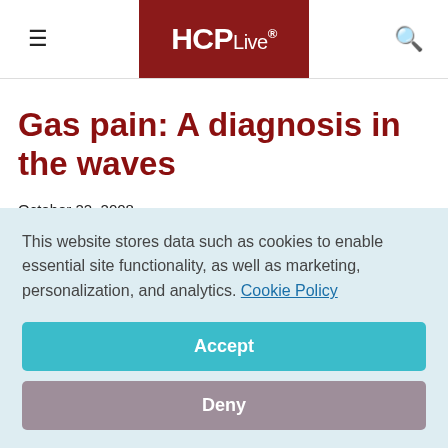HCPLive®
Gas pain: A diagnosis in the waves
October 22, 2008
Prepared by Bruce C. Nisbet, MD, department of
This website stores data such as cookies to enable essential site functionality, as well as marketing, personalization, and analytics. Cookie Policy
Accept
Deny